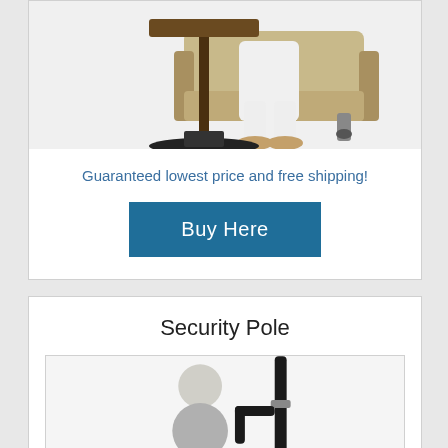[Figure (photo): Photo of elderly person sitting in a chair next to an overbed/bedside table with adjustable arm, viewed from the lower body down showing white pants and tan shoes, with the table base visible]
Guaranteed lowest price and free shipping!
Buy Here
Security Pole
[Figure (photo): Photo of a security pole (black floor-to-ceiling pole with grab bar handle) next to a seated elderly person, showing partial upper body of person with gray hair]